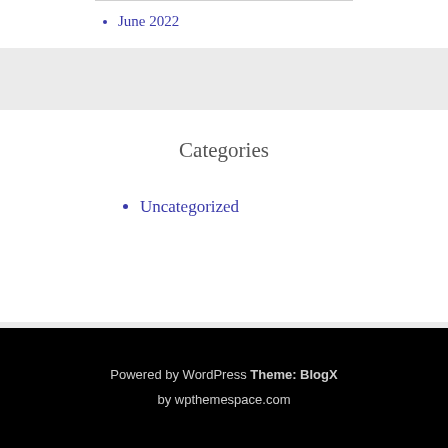June 2022
Categories
Uncategorized
Powered by WordPress Theme: BlogX by wpthemespace.com